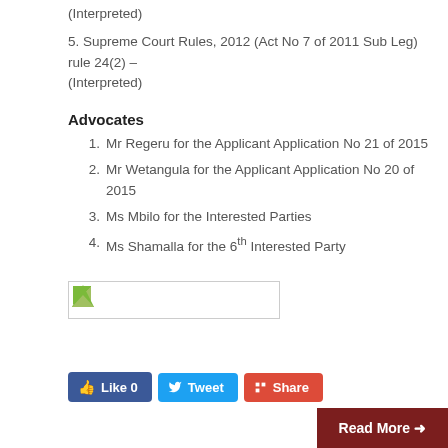(Interpreted)
5. Supreme Court Rules, 2012 (Act No 7 of 2011 Sub Leg) rule 24(2) – (Interpreted)
Advocates
1.  Mr Regeru for the Applicant Application No 21 of 2015
2.  Mr Wetangula for the Applicant Application No 20 of 2015
3.  Ms Mbilo for the Interested Parties
4.  Ms Shamalla for the 6th Interested Party
[Figure (other): Broken image placeholder with small green icon]
Like 0  Tweet  Share
Read More →